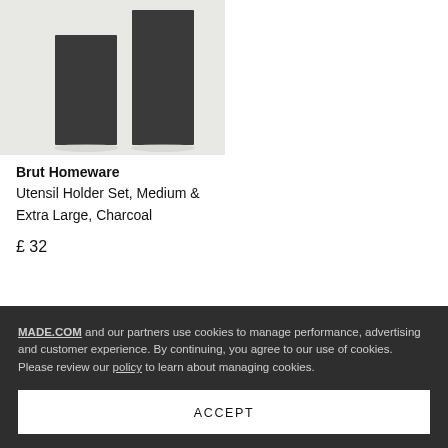[Figure (photo): Two dark charcoal rectangular utensil holders of different heights against a light grey background]
Brut Homeware
Utensil Holder Set, Medium & Extra Large, Charcoal
£ 32
MADE.COM and our partners use cookies to manage performance, advertising and customer experience. By continuing, you agree to our use of cookies. Please review our policy to learn about managing cookies.
ACCEPT